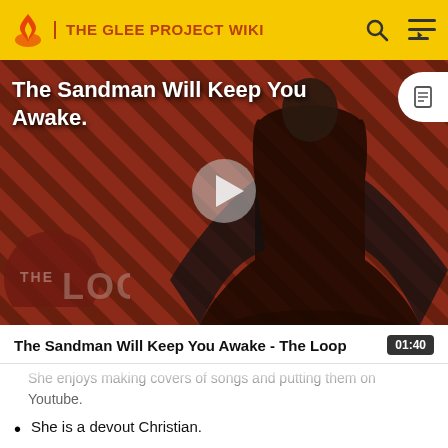THE GLEE PROJECT WIKI
[Figure (screenshot): Video thumbnail for 'The Sandman Will Keep You Awake - The Loop' showing a figure in black cape against a red diagonal striped background with THE LOOP watermark and a play button overlay]
The Sandman Will Keep You Awake - The Loop
She enjoys making covers of songs and putting them on Youtube.
She is a devout Christian.
She has one sister and more than one brother.